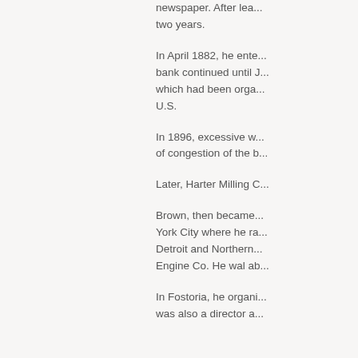newspaper. After lea... two years.
In April 1882, he ente... bank continued until J... which had been orga... U.S.
In 1896, excessive w... of congestion of the b...
Later, Harter Milling C...
Brown, then became... York City where he ra... Detroit and Northern... Engine Co. He wal ab...
In Fostoria, he organi... was also a director a...